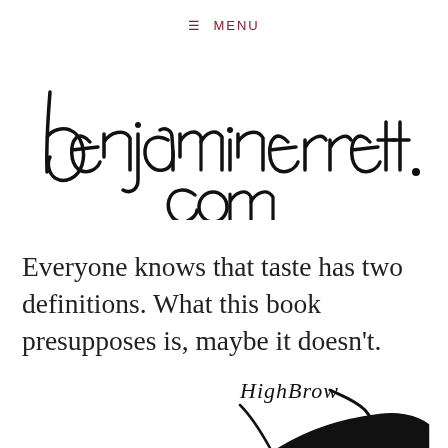≡  MENU
[Figure (illustration): Handwritten script logo reading 'benjamin errett.com' in black ink on white background]
Everyone knows that taste has two definitions. What this book presupposes is, maybe it doesn't.
[Figure (illustration): Partial 'HighBrow' handwritten/logo text with decorative ink stroke or book graphic at bottom of page]